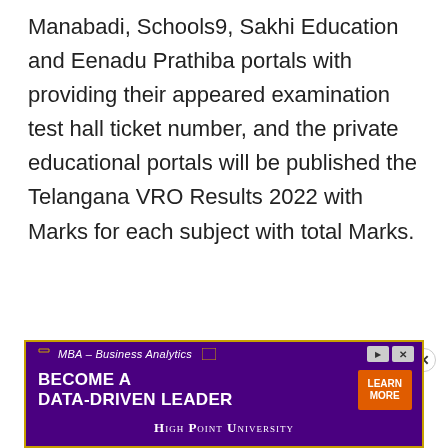Manabadi, Schools9, Sakhi Education and Eenadu Prathiba portals with providing their appeared examination test hall ticket number, and the private educational portals will be published the Telangana VRO Results 2022 with Marks for each subject with total Marks.
TSPSC VRO ఫలితాలు 2022 డౌన్లోడ్ చేయడానికి అడుగులు అనుసరించవలసిన దశలు అనుసరించండి ×
[Figure (other): Advertisement banner for High Point University MBA – Business Analytics program. Purple background with orange border. Text: MBA – Business Analytics, BECOME A DATA-DRIVEN LEADER, with LEARN MORE button and HIGH POINT UNIVERSITY branding.]